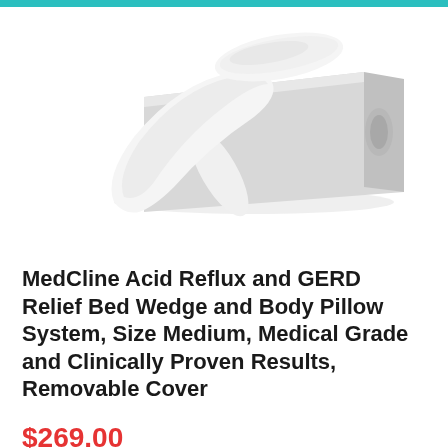[Figure (photo): MedCline Acid Reflux and GERD Relief Bed Wedge and Body Pillow System product photo showing a white wedge cushion system with gray and orange accents, accompanied by a white body pillow, on a white background.]
MedCline Acid Reflux and GERD Relief Bed Wedge and Body Pillow System, Size Medium, Medical Grade and Clinically Proven Results, Removable Cover
$269.00